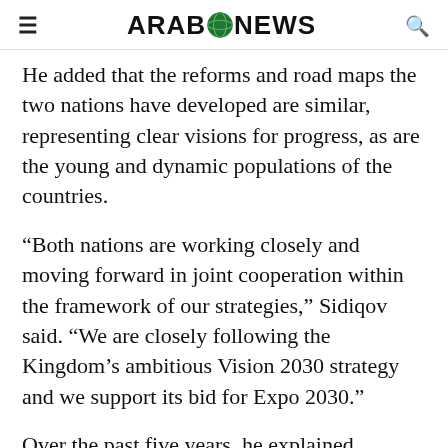ARAB NEWS
He added that the reforms and road maps the two nations have developed are similar, representing clear visions for progress, as are the young and dynamic populations of the countries.
“Both nations are working closely and moving forward in joint cooperation within the framework of our strategies,” Sidiqov said. “We are closely following the Kingdom’s ambitious Vision 2030 strategy and we support its bid for Expo 2030.”
Over the past five years, he explained, Uzbekistan has implemented a domestic development strategy aimed at easing its